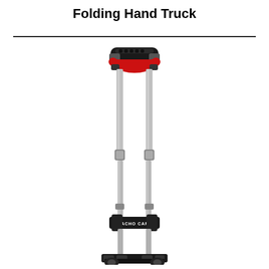Folding Hand Truck
[Figure (photo): A folding hand truck with silver aluminum telescoping frame, black ergonomic handle at top, red cross-brace connector, black horizontal support bar branded 'MACHO CART', and black folding base/foot plate at the bottom.]